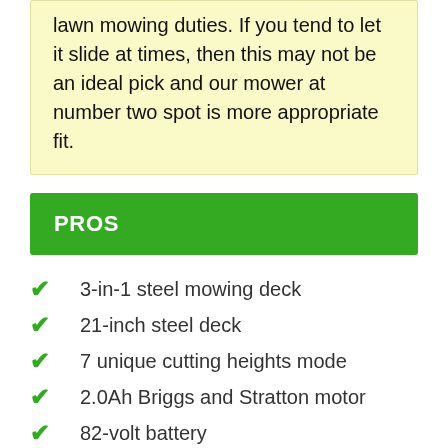lawn mowing duties. If you tend to let it slide at times, then this may not be an ideal pick and our mower at number two spot is more appropriate fit.
PROS
3-in-1 steel mowing deck
21-inch steel deck
7 unique cutting heights mode
2.0Ah Briggs and Stratton motor
82-volt battery
Battery Meter